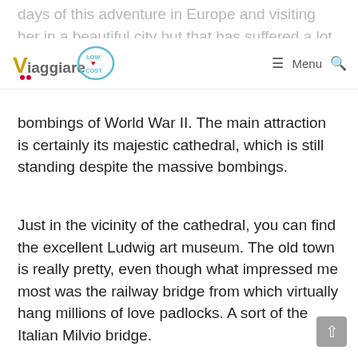Viaggiare Low Cost — Menu (search icon)
days of this adventure in Europe and visiting her in a beautiful city but that has suffered a lot from the bombings of World War II. The main attraction is certainly its majestic cathedral, which is still standing despite the massive bombings.
Just in the vicinity of the cathedral, you can find the excellent Ludwig art museum. The old town is really pretty, even though what impressed me most was the railway bridge from which virtually hang millions of love padlocks. A sort of the Italian Milvio bridge.